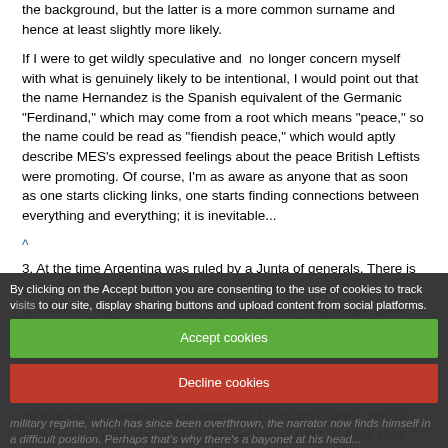the background, but the latter is a more common surname and hence at least slightly more likely.
If I were to get wildly speculative and no longer concern myself with what is genuinely likely to be intentional, I would point out that the name Hernandez is the Spanish equivalent of the Germanic "Ferdinand," which may come from a root which means "peace," so the name could be read as "fiendish peace," which would aptly describe MES's expressed feelings about the peace British Leftists were promoting. Of course, I'm as aware as anyone that as soon as one starts clicking links, one starts finding connections between everything and everything; it is inevitable...
^
3. At the time Argentina was ruled by a Junta of generals. There is a lot of speculation about this line in the notes below; Rob (comment #35) maintains that on a live version MES says "good generals have many enemies," which seems to serve as a sort of aphorism indicating that those who make hard choices face opposition. And Dan submits:
"It's not spelled out for us, but the most natural assumption would be that the key general is the infamous Leopoldo Galtieri, whose military junta ruled Argentina from December 1981 to June 1982 (i.e. the month before the first live performance of...
military regime, which has since been overthrown, the narrator now finds himself in a difficult position. Perhaps that's why there's a bayonet at his head...
By clicking on the Accept button you are consenting to the use of cookies to track visits to our site, display sharing buttons and upload content from social platforms.